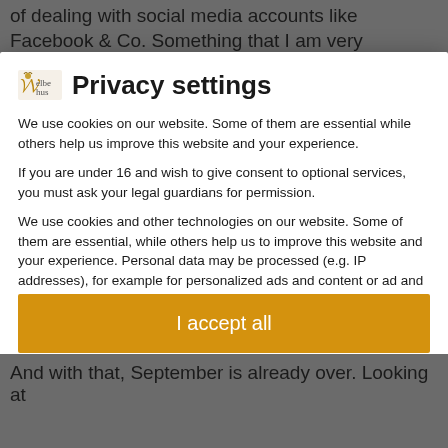of dealing with social media accounts like Facebook & Co. Something that I am very reluctant to do. Let's
Privacy settings
We use cookies on our website. Some of them are essential while others help us improve this website and your experience.
If you are under 16 and wish to give consent to optional services, you must ask your legal guardians for permission.
We use cookies and other technologies on our website. Some of them are essential, while others help us to improve this website and your experience. Personal data may be processed (e.g. IP addresses), for example for personalized ads and content or ad and content measurement. You can find more information about the use of your data in our privacy policy. You can revoke or adjust your selection at any time under Settings.
Essential
External media
I accept all
And with that, September is already over. Looking at